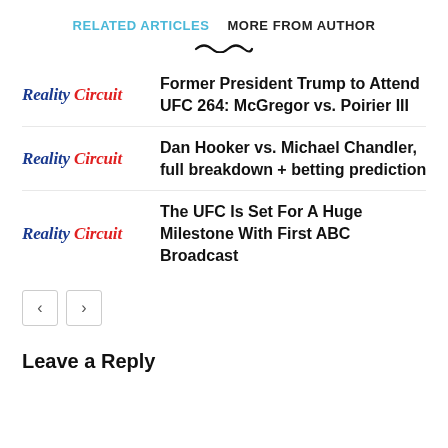RELATED ARTICLES   MORE FROM AUTHOR
Former President Trump to Attend UFC 264: McGregor vs. Poirier III
Dan Hooker vs. Michael Chandler, full breakdown + betting prediction
The UFC Is Set For A Huge Milestone With First ABC Broadcast
Leave a Reply